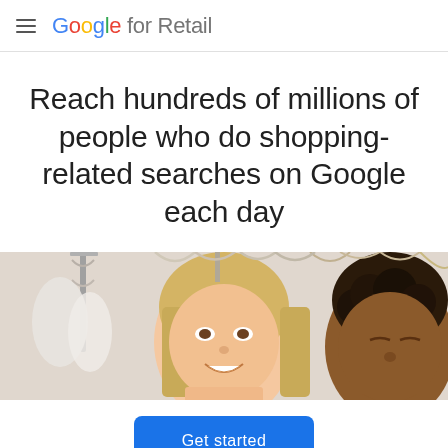Google for Retail
Reach hundreds of millions of people who do shopping-related searches on Google each day
[Figure (photo): Two people smiling in what appears to be a retail clothing store with hangers and garments in the background.]
Get started